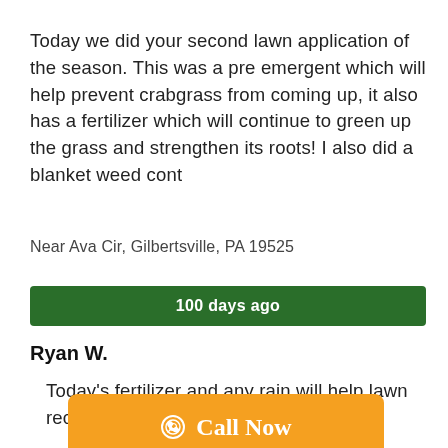Today we did your second lawn application of the season. This was a pre emergent which will help prevent crabgrass from coming up, it also has a fertilizer which will continue to green up the grass and strengthen its roots! I also did a blanket weed cont
Near Ava Cir, Gilbertsville, PA 19525
100 days ago
Ryan W.
Today's fertilizer and any rain will help lawn recover [obscured text] hread. This sh [obscured] ly in the season.
[Figure (other): Orange 'Call Now' button overlay with phone icon, partially obscuring text]